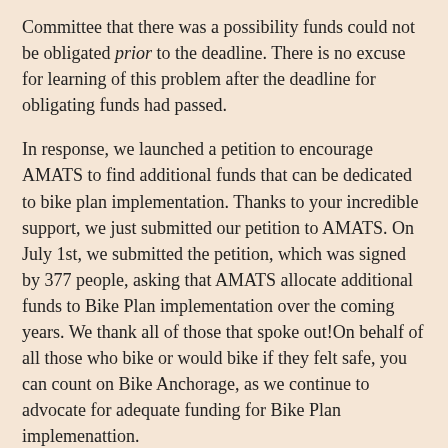Committee that there was a possibility funds could not be obligated prior to the deadline. There is no excuse for learning of this problem after the deadline for obligating funds had passed.
In response, we launched a petition to encourage AMATS to find additional funds that can be dedicated to bike plan implementation. Thanks to your incredible support, we just submitted our petition to AMATS. On July 1st, we submitted the petition, which was signed by 377 people, asking that AMATS allocate additional funds to Bike Plan implementation over the coming years. We thank all of those that spoke out!On behalf of all those who bike or would bike if they felt safe, you can count on Bike Anchorage, as we continue to advocate for adequate funding for Bike Plan implemenattion.
Do you like this post?
Like  Sign Up to see what your friends like.